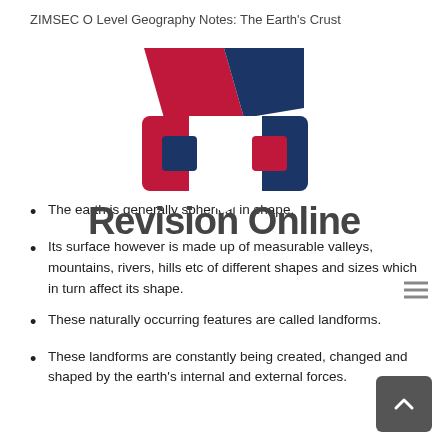ZIMSEC O Level Geography Notes: The Earth's Crust
[Figure (logo): Revision Online logo — stylized house/book icon in red, dark blue, and white with text 'Revision Online' in bold dark gray]
The earth is generally spherical in shape.
Its surface however is made up of measurable valleys, mountains, rivers, hills etc of different shapes and sizes which in turn affect its shape.
These naturally occurring features are called landforms.
These landforms are constantly being created, changed and shaped by the earth's internal and external forces.